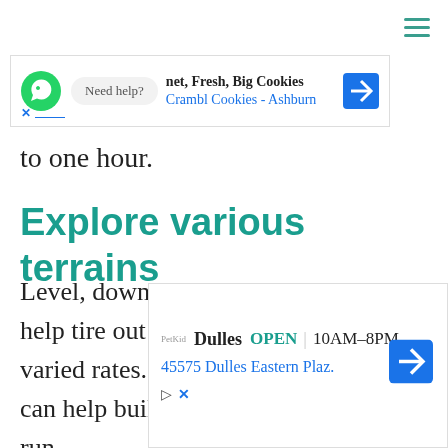[Figure (other): Hamburger menu icon (three horizontal teal lines) in top right corner]
[Figure (other): Advertisement banner: WhatsApp icon with 'Need help?' bubble, text 'net, Fresh, Big Cookies' and 'Crambl Cookies - Ashburn' in blue, with navigation arrow icon]
to one hour.
Explore various terrains
Level, downhill, and uphill will all help tire out your Golden Retriever at varied rates. These varying terrains can help build up his stamina for more run
[Figure (other): Advertisement banner: 'Dulles OPEN 10AM-8PM 45575 Dulles Eastern Plaz.' with navigation arrow icon]